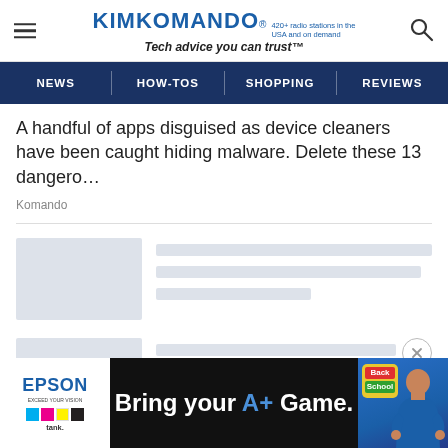KIMKOMANDO® 420+ radio stations in the USA and on demand — Tech advice you can trust™
NEWS | HOW-TOS | SHOPPING | REVIEWS
A handful of apps disguised as device cleaners have been caught hiding malware. Delete these 13 dangero…
Komando
[Figure (other): Loading skeleton card 1 with grey thumbnail placeholder and three grey loading lines]
[Figure (other): Loading skeleton card 2 with grey thumbnail placeholder and loading lines, close (X) button on right]
[Figure (other): Epson advertisement banner: Bring your A+ Game. Shows Epson EcoTank logo, colorful ink blocks, text 'Bring your A+ Game.' in white with A+ in blue, and a person in a blue shirt holding a backpack]